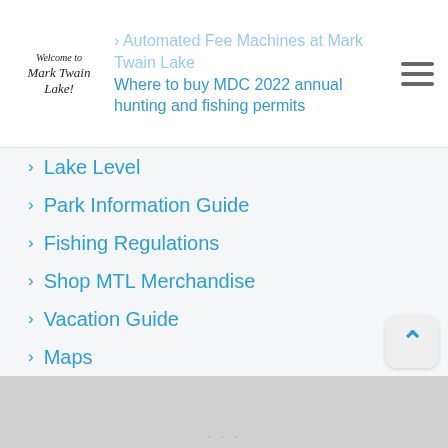Welcome to Mark Twain Lake! · Automated Fee Machines at Mark Twain Lake · Where to buy MDC 2022 annual hunting and fishing permits
Lake Level
Park Information Guide
Fishing Regulations
Shop MTL Merchandise
Vacation Guide
Maps
Interactive Map
Area Events
Photos
Links
About Us
Contact Us
[Figure (map): Map area at the bottom of the page, partially visible]